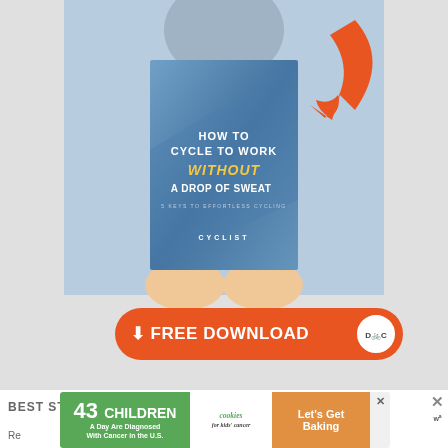[Figure (illustration): Book cover image: 'How To Cycle To Work WITHOUT A Drop Of Sweat' held by hands, with orange arrow pointing to it. Orange download button below reading 'FREE DOWNLOAD' with cyclist logo.]
BEST STYLISH CYCLING CLOTHES
[Figure (infographic): Ad banner: '43 CHILDREN A Day Are Diagnosed With Cancer in the U.S.' with cookies for kids' cancer logo and 'Let's Get Baking' text on orange background. Close X button on right.]